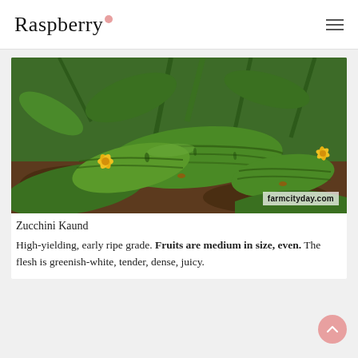Raspberry
[Figure (photo): Photo of zucchini (Zucchini Kaund) fruits on the plant, green striped fruits with yellow flowers, soil visible, watermark reading farmcityday.com]
Zucchini Kaund
High-yielding, early ripe grade. Fruits are medium in size, even. The flesh is greenish-white, tender, dense, juicy.